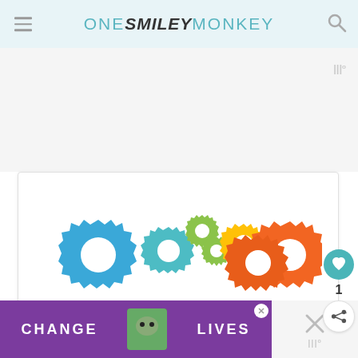ONE SMILEY MONKEY
[Figure (illustration): Colorful gear/cog icons in blue, teal, green, yellow, and orange arranged in a row on a white card background]
[Figure (photo): Purple advertisement banner with cats and text 'CHANGE LIVES']